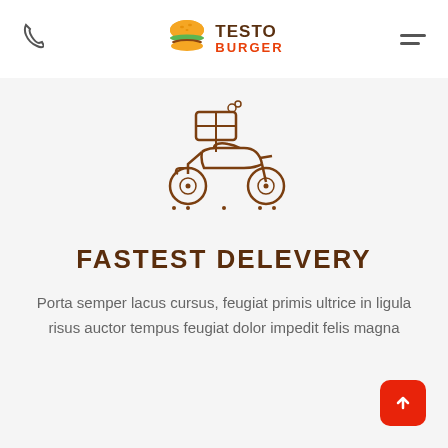Testo Burger — navigation header with phone icon, logo, and menu icon
[Figure (illustration): Delivery scooter with a box on top, drawn in brown outline style]
FASTEST DELEVERY
Porta semper lacus cursus, feugiat primis ultrice in ligula risus auctor tempus feugiat dolor impedit felis magna